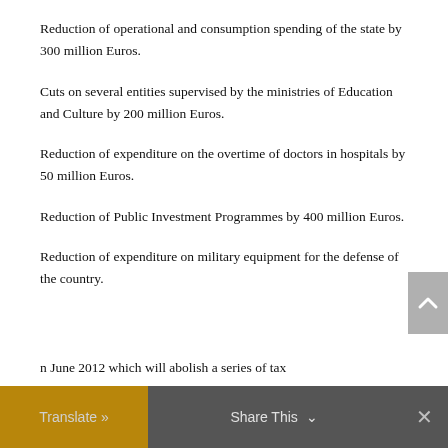Reduction of operational and consumption spending of the state by 300 million Euros.
Cuts on several entities supervised by the ministries of Education and Culture by 200 million Euros.
Reduction of expenditure on the overtime of doctors in hospitals by 50 million Euros.
Reduction of Public Investment Programmes by 400 million Euros.
Reduction of expenditure on military equipment for the defense of the country.
n June 2012 which will abolish a series of tax
Translate »   Share This ✓   ✕